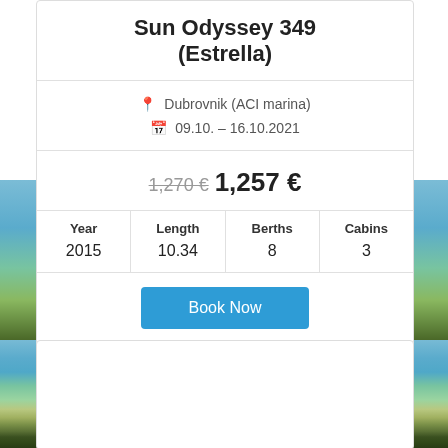Sun Odyssey 349 (Estrella)
Dubrovnik (ACI marina)
09.10. - 16.10.2021
1,270 € 1,257 €
| Year | Length | Berths | Cabins |
| --- | --- | --- | --- |
| 2015 | 10.34 | 8 | 3 |
Book Now
[Figure (photo): Scenic coastal photo showing turquoise water, rocky shoreline, and green hillside vegetation in the background]